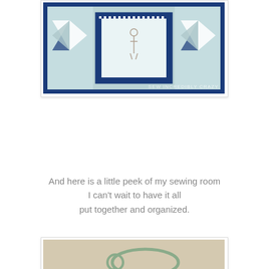[Figure (photo): A blue and white patchwork quilt with navy blue checkerboard border pattern and light teal/white geometric star blocks. A central white block features a small embroidered or printed figure. The quilt is laid out on a dark surface. Watermark reads 'Sew Incredibly Crazy'.]
And here is a little peek of my sewing room I can't wait to have it all put together and organized.
[Figure (photo): A close-up photo showing a large safety pin (open) hanging on a wall, below which hang two white cylindrical objects (possibly thread or spool holders), and at the bottom a portion of a blue and white patchwork quilt held by navy clips. A watermark reads 'Sew Incredibly Crazy'.]